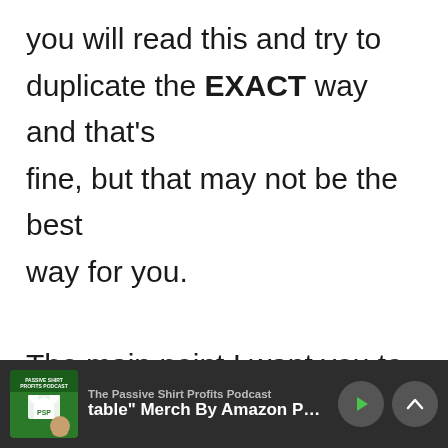you will read this and try to duplicate the EXACT way and that's fine, but that may not be the best way for you.

The main point I want you to see here is that a collection of designs in one niche will give you more
[Figure (screenshot): Podcast player footer bar showing 'The Passive Shirt Profits Podcast' with episode text 'table" Merch By Amazon Post I'm Re' and play/up arrow controls on dark background with podcast logo]